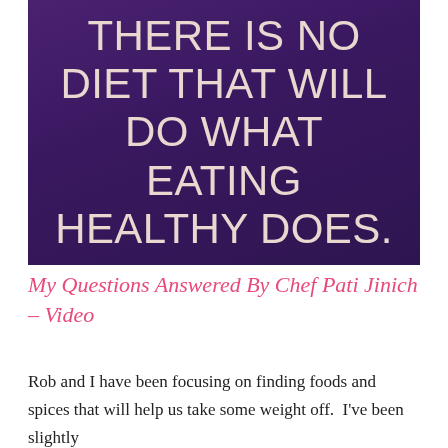[Figure (illustration): Dark purple gradient background with large light-colored uppercase text reading: THERE IS NO DIET THAT WILL DO WHAT EATING HEALTHY DOES.]
My Questions Answered By Chef Pati Jinich – Video
Rob and I have been focusing on finding foods and spices that will help us take some weight off.  I've been slightly